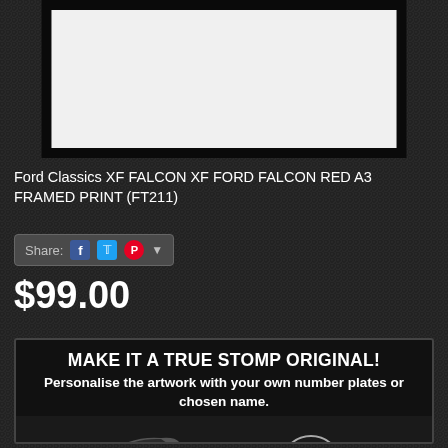[Figure (photo): A framed print showing XF Ford Falcon in red, displayed in a black frame against white mat background]
Ford Classics XF FALCON XF FORD FALCON RED A3 FRAMED PRINT (FT211)
Share: [Facebook] [Twitter] [Pinterest] [dropdown]
$99.00
[Figure (infographic): Dark promotional banner reading MAKE IT A TRUE STOMP ORIGINAL! Personalise the artwork with your own number plates or chosen name. Shows two circular detail images of a classic Ford car and a number plate reading DAVES in yellow/black Australian style.]